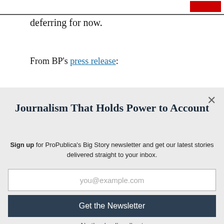deferring for now.
From BP's press release:
Journalism That Holds Power to Account
Sign up for ProPublica's Big Story newsletter and get our latest stories delivered straight to your inbox.
you@example.com
Get the Newsletter
No thanks, I'm all set
This site is protected by reCAPTCHA and the Google Privacy Policy and Terms of Service apply.